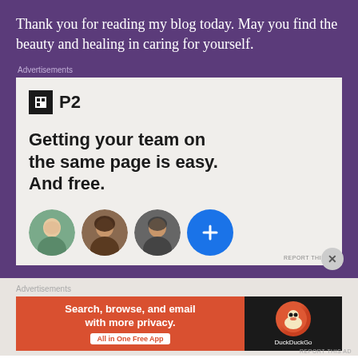Thank you for reading my blog today. May you find the beauty and healing in caring for yourself.
Advertisements
[Figure (screenshot): P2 advertisement: logo with bold square icon and 'P2' text, headline 'Getting your team on the same page is easy. And free.' with three circular profile photos and a blue plus button below.]
REPORT THIS AD
Advertisements
[Figure (screenshot): DuckDuckGo advertisement with orange background on left reading 'Search, browse, and email with more privacy. All in One Free App' and dark background on right with DuckDuckGo duck logo and brand name.]